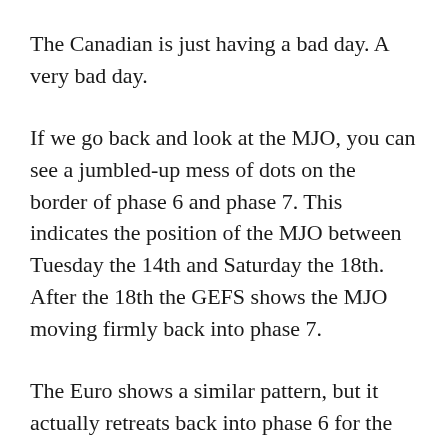The Canadian is just having a bad day. A very bad day.
If we go back and look at the MJO, you can see a jumbled-up mess of dots on the border of phase 6 and phase 7. This indicates the position of the MJO between Tuesday the 14th and Saturday the 18th. After the 18th the GEFS shows the MJO moving firmly back into phase 7.
The Euro shows a similar pattern, but it actually retreats back into phase 6 for the period. Then, Euro emerges back into 7 around